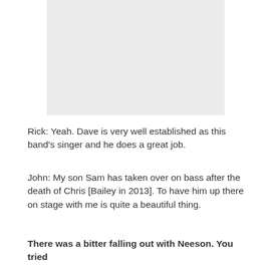[Figure (photo): Light gray placeholder image area at top of page]
Rick: Yeah. Dave is very well established as this band's singer and he does a great job.
John: My son Sam has taken over on bass after the death of Chris [Bailey in 2013]. To have him up there on stage with me is quite a beautiful thing.
There was a bitter falling out with Neeson. You tried